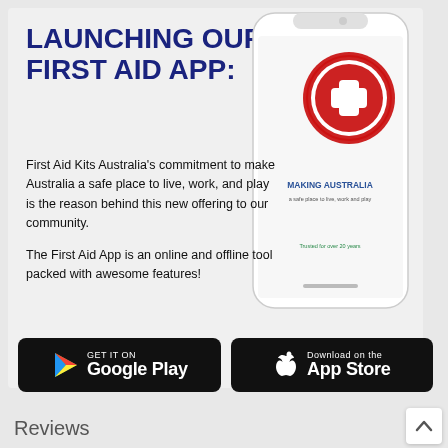LAUNCHING OUR FIRST AID APP:
[Figure (illustration): Smartphone showing First Aid Kits Australia app screen with logo and 'Making Australia a safe place to live, work and play' text and 'Trusted for over 20 years']
First Aid Kits Australia's commitment to make Australia a safe place to live, work, and play is the reason behind this new offering to our community.
The First Aid App is an online and offline tool packed with awesome features!
[Figure (logo): Get it on Google Play button]
[Figure (logo): Download on the App Store button]
Reviews